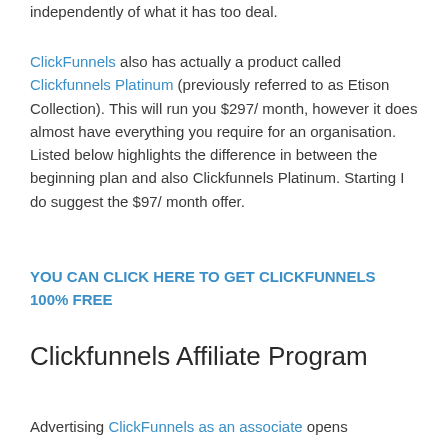independently of what it has too deal.
ClickFunnels also has actually a product called Clickfunnels Platinum (previously referred to as Etison Collection). This will run you $297/ month, however it does almost have everything you require for an organisation. Listed below highlights the difference in between the beginning plan and also Clickfunnels Platinum. Starting I do suggest the $97/ month offer.
YOU CAN CLICK HERE TO GET CLICKFUNNELS 100% FREE
Clickfunnels Affiliate Program
Advertising ClickFunnels as an associate opens